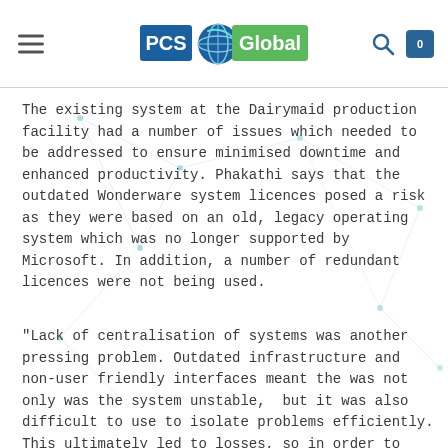PCS Global
The existing system at the Dairymaid production facility had a number of issues which needed to be addressed to ensure minimised downtime and enhanced productivity. Phakathi says that the outdated Wonderware system licences posed a risk as they were based on an old, legacy operating system which was no longer supported by Microsoft. In addition, a number of redundant licences were not being used.
“Lack of centralisation of systems was another pressing problem. Outdated infrastructure and non-user friendly interfaces meant the was not only was the system unstable,  but it was also difficult to use to isolate problems efficiently. This ultimately led to losses, so in order to ensure that the company was not plagued by